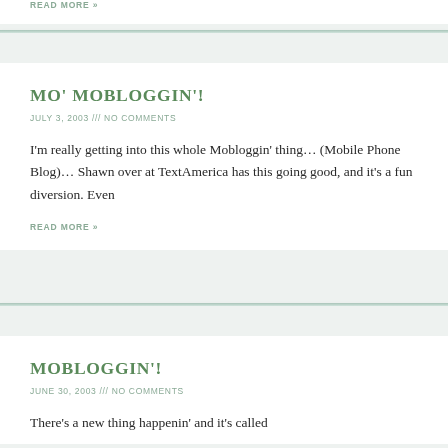READ MORE »
MO' MOBLOGGIN'!
JULY 3, 2003 /// NO COMMENTS
I'm really getting into this whole Mobloggin' thing... (Mobile Phone Blog)... Shawn over at TextAmerica has this going good, and it's a fun diversion. Even
READ MORE »
MOBLOGGIN'!
JUNE 30, 2003 /// NO COMMENTS
There's a new thing happenin' and it's called